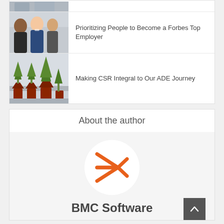[Figure (photo): Partial top image, cropped, showing people]
Prioritizing People to Become a Forbes Top Employer
[Figure (photo): Photo of green potted trees against a wall]
Making CSR Integral to Our ADE Journey
About the author
[Figure (logo): BMC Software orange arrow/bowtie logo in a white circle]
BMC Software